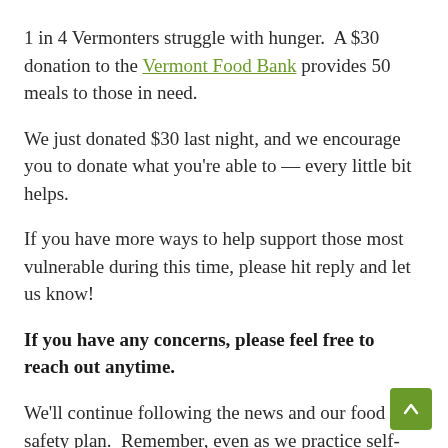1 in 4 Vermonters struggle with hunger.  A $30 donation to the Vermont Food Bank provides 50 meals to those in need.
We just donated $30 last night, and we encourage you to donate what you're able to — every little bit helps.
If you have more ways to help support those most vulnerable during this time, please hit reply and let us know!
If you have any concerns, please feel free to reach out anytime.
We'll continue following the news and our food safety plan.  Remember, even as we practice self-distancing and isolating,